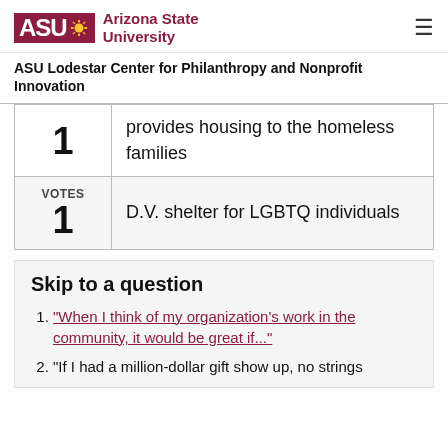ASU Arizona State University
ASU Lodestar Center for Philanthropy and Nonprofit Innovation
| Votes | Description |
| --- | --- |
| 1 | provides housing to the homeless families |
| VOTES 1 | D.V. shelter for LGBTQ individuals |
Skip to a question
"When I think of my organization's work in the community, it would be great if..."
"If I had a million-dollar gift show up, no strings